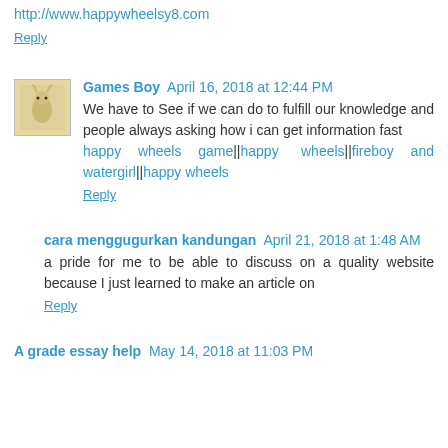http://www.happywheelsy8.com
Reply
Games Boy April 16, 2018 at 12:44 PM
We have to See if we can do to fulfill our knowledge and people always asking how i can get information fast happy wheels game||happy wheels||fireboy and watergirl||happy wheels
Reply
cara menggugurkan kandungan April 21, 2018 at 1:48 AM
a pride for me to be able to discuss on a quality website because I just learned to make an article on
Reply
A grade essay help May 14, 2018 at 11:03 PM